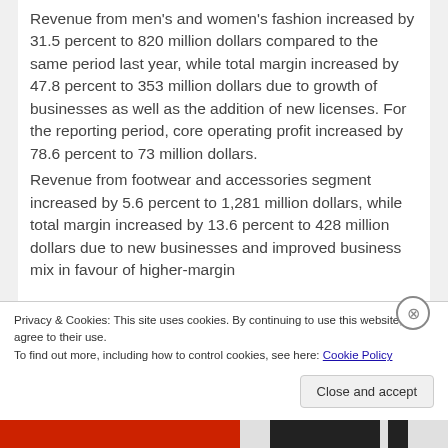Revenue from men's and women's fashion increased by 31.5 percent to 820 million dollars compared to the same period last year, while total margin increased by 47.8 percent to 353 million dollars due to growth of businesses as well as the addition of new licenses. For the reporting period, core operating profit increased by 78.6 percent to 73 million dollars.
Revenue from footwear and accessories segment increased by 5.6 percent to 1,281 million dollars, while total margin increased by 13.6 percent to 428 million dollars due to new businesses and improved business mix in favour of higher-margin
Privacy & Cookies: This site uses cookies. By continuing to use this website, you agree to their use.
To find out more, including how to control cookies, see here: Cookie Policy